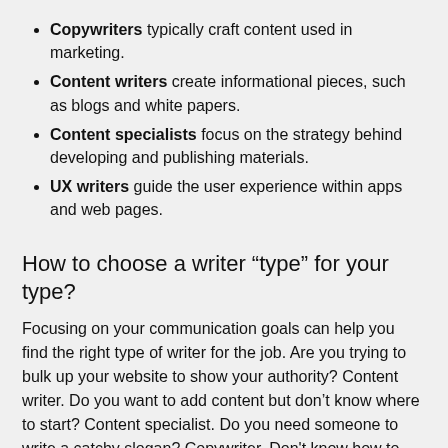Copywriters typically craft content used in marketing.
Content writers create informational pieces, such as blogs and white papers.
Content specialists focus on the strategy behind developing and publishing materials.
UX writers guide the user experience within apps and web pages.
How to choose a writer “type” for your type?
Focusing on your communication goals can help you find the right type of writer for the job. Are you trying to bulk up your website to show your authority? Content writer. Do you want to add content but don’t know where to start? Content specialist. Do you need someone to write a catchy slogan? Copywriter. Don't know how to make your new app user-friendly? UX writer.